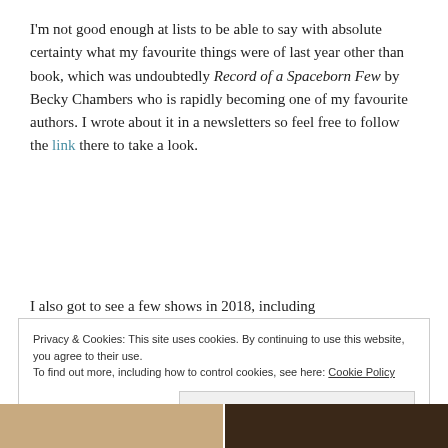I'm not good enough at lists to be able to say with absolute certainty what my favourite things were of last year other than book, which was undoubtedly Record of a Spaceborn Few by Becky Chambers who is rapidly becoming one of my favourite authors. I wrote about it in a newsletters so feel free to follow the link there to take a look.
I also got to see a few shows in 2018, including
Privacy & Cookies: This site uses cookies. By continuing to use this website, you agree to their use.
To find out more, including how to control cookies, see here: Cookie Policy
Close and accept
[Figure (photo): Two partial photos side by side at the bottom of the page, cropped]